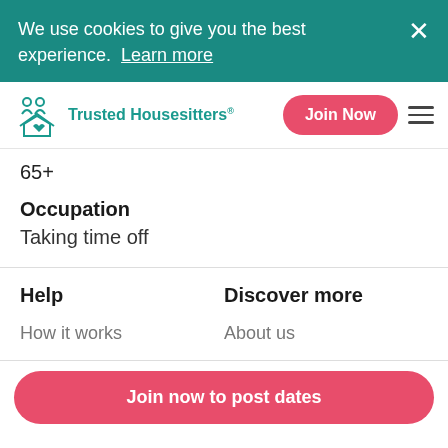We use cookies to give you the best experience. Learn more
Trusted Housesitters
65+
Occupation
Taking time off
Help
Discover more
How it works
About us
Join now to post dates